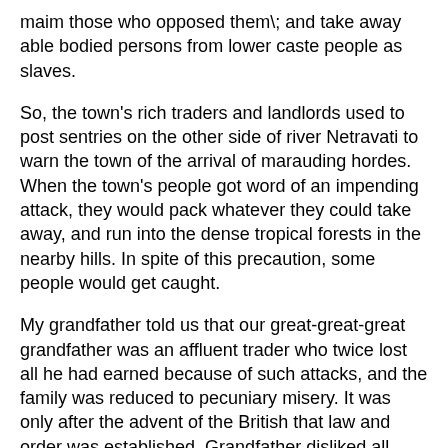maim those who opposed them\; and take away able bodied persons from lower caste people as slaves.
So, the town's rich traders and landlords used to post sentries on the other side of river Netravati to warn the town of the arrival of marauding hordes. When the town's people got word of an impending attack, they would pack whatever they could take away, and run into the dense tropical forests in the nearby hills. In spite of this precaution, some people would get caught.
My grandfather told us that our great-great-great grandfather was an affluent trader who twice lost all he had earned because of such attacks, and the family was reduced to pecuniary misery. It was only after the advent of the British that law and order was established. Grandfather disliked all Congressmen – he thought they were needless troublemakers, descended from Satan himself!
None of the teachers in our school were enthusiastic about Independence, and hardly spoke to us about the Independence movement. These teachers were the cream of the teaching community, working in a prestigious school often called “Collegiate High School”.